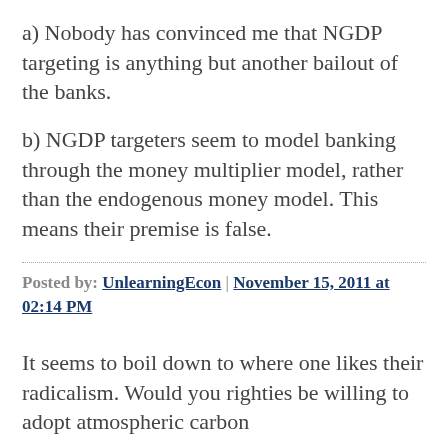a) Nobody has convinced me that NGDP targeting is anything but another bailout of the banks.
b) NGDP targeters seem to model banking through the money multiplier model, rather than the endogenous money model. This means their premise is false.
Posted by: UnlearningEcon | November 15, 2011 at 02:14 PM
It seems to boil down to where one likes their radicalism. Would you righties be willing to adopt atmospheric carbon